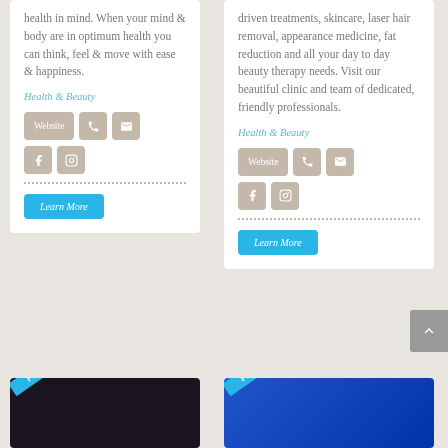health in mind. When your mind & body are in optimum health you can think, feel & move with ease & happiness.
Health & Beauty
[Figure (infographic): Row of contact buttons: Website, phone icon, email icon; then Facebook icon, Instagram icon]
[Figure (infographic): Learn More button in blue]
driven treatments, skincare, laser hair removal, appearance medicine, fat reduction and all your day to day beauty therapy needs. Visit our beautiful clinic and team of dedicated, friendly professionals.
Health & Beauty
[Figure (infographic): Row of contact buttons: Website, phone icon, email icon; then Facebook icon, Instagram icon]
[Figure (infographic): Learn More button in blue]
[Figure (infographic): Scroll to top arrow button on right side]
[Figure (photo): Dark image card bottom left with FEATURED ribbon]
[Figure (photo): Blue image card bottom right with FEATURED ribbon]